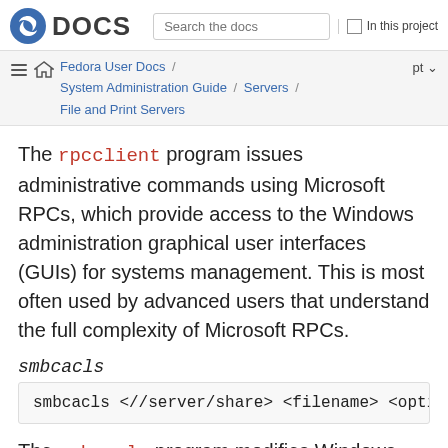Fedora DOCS | Search the docs | In this project
Fedora User Docs / System Administration Guide / Servers / File and Print Servers | pt
The rpcclient program issues administrative commands using Microsoft RPCs, which provide access to the Windows administration graphical user interfaces (GUIs) for systems management. This is most often used by advanced users that understand the full complexity of Microsoft RPCs.
smbcacls
smbcacls <//server/share> <filename> <optio
The smbcacls program modifies Windows ACLs on files and directories shared by a Samba server or